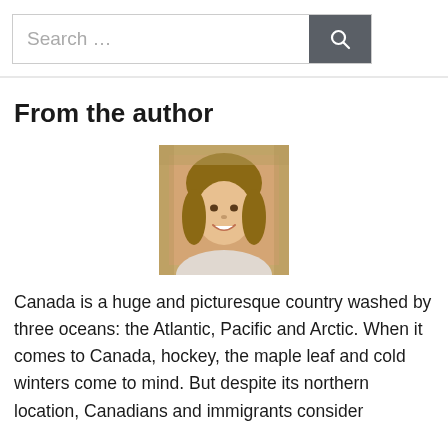Search …
From the author
[Figure (photo): Portrait photo of a smiling young woman with shoulder-length brown hair, wearing a light-colored top, photographed outdoors with a blurred natural background.]
Canada is a huge and picturesque country washed by three oceans: the Atlantic, Pacific and Arctic. When it comes to Canada, hockey, the maple leaf and cold winters come to mind. But despite its northern location, Canadians and immigrants consider